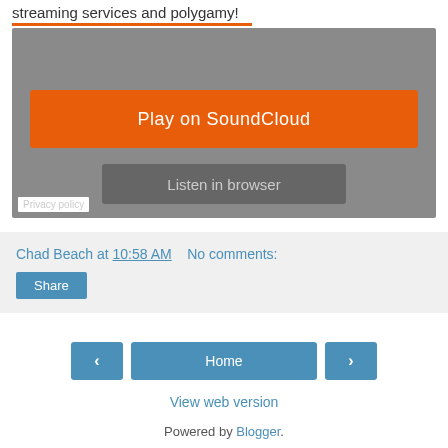streaming services and polygamy!
[Figure (screenshot): SoundCloud embedded player with orange 'Play on SoundCloud' button and gray 'Listen in browser' button on a gray background. Privacy policy link in lower left.]
Chad Beach at 10:58 AM   No comments:
Share
< Home >
View web version
Powered by Blogger.